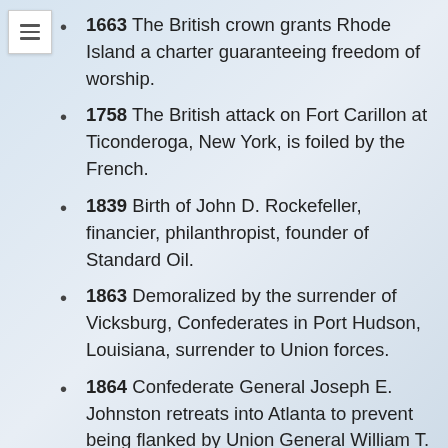1663 The British crown grants Rhode Island a charter guaranteeing freedom of worship.
1758 The British attack on Fort Carillon at Ticonderoga, New York, is foiled by the French.
1839 Birth of John D. Rockefeller, financier, philanthropist, founder of Standard Oil.
1863 Demoralized by the surrender of Vicksburg, Confederates in Port Hudson, Louisiana, surrender to Union forces.
1864 Confederate General Joseph E. Johnston retreats into Atlanta to prevent being flanked by Union General William T. Sherman.
1865 Four of the conspirators in President Abraham Lincoln's assassination are hanged in Washington, D.C.
1879 The first ship to use electric lights departs from San Francisco, California.